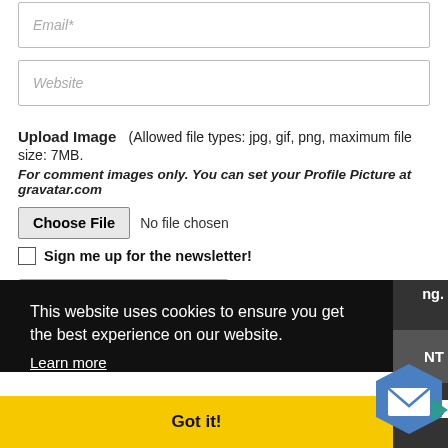[Figure (screenshot): Email input field with italic placeholder text 'Email*']
[Figure (screenshot): Website input field with italic placeholder text 'Website']
Upload Image  (Allowed file types: jpg, gif, png, maximum file size: 7MB.
For comment images only. You can set your Profile Picture at gravatar.com
[Figure (screenshot): Choose File button with 'No file chosen' text]
Sign me up for the newsletter!
[Figure (screenshot): Dropdown selector showing 'All' with chevron]
This website uses cookies to ensure you get the best experience on our website.
Learn more
Got it!
ng.
NT
ata is
Terms